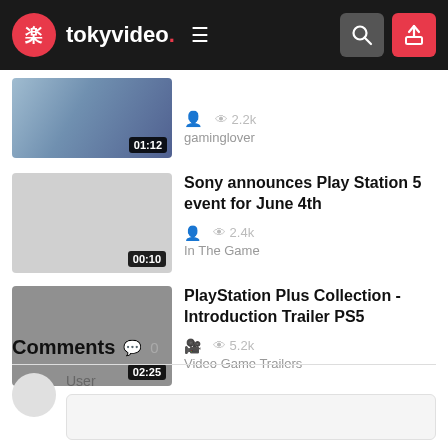tokyvideo. navigation header
[Figure (screenshot): Partial video thumbnail with dark overlay, duration badge 01:12]
gaminglover — 2.2k views
[Figure (screenshot): Gray video thumbnail with duration badge 00:10]
Sony announces Play Station 5 event for June 4th — In The Game — 2.4k views
[Figure (screenshot): Dark gray video thumbnail with duration badge 02:25]
PlayStation Plus Collection - Introduction Trailer PS5 — Video Game Trailers — 5.2k views
Comments 0
User
Comment input box